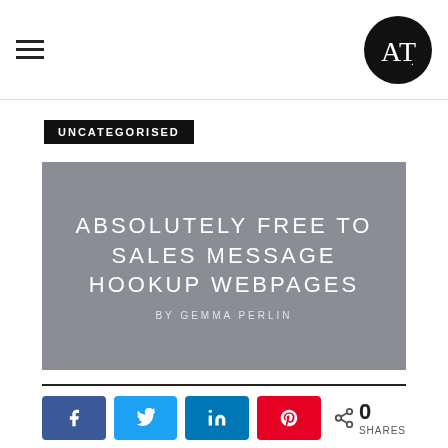AT logo with hamburger menu
UNCATEGORISED
[Figure (illustration): Gray featured image banner with title ABSOLUTELY FREE TO SALES MESSAGE HOOKUP WEBPAGES and byline BY GEMMA PERLIN]
ABSOLUTELY FREE TO SALES MESSAGE HOOKUP WEBPAGES
BY GEMMA PERLIN
[Figure (infographic): Social share buttons: Facebook, Twitter, LinkedIn, Pinterest, with share count 0 SHARES]